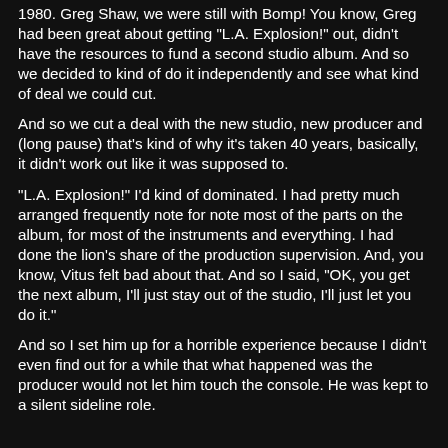1980. Greg Shaw, we were still with Bomp! You know, Greg had been great about getting "L.A. Explosion!" out, didn't have the resources to fund a second studio album. And so we decided to kind of do it independently and see what kind of deal we could cut.
And so we cut a deal with the new studio, new producer and (long pause) that's kind of why it's taken 40 years, basically, it didn't work out like it was supposed to.
"L.A. Explosion!" I'd kind of dominated. I had pretty much arranged frequently note for note most of the parts on the album, for most of the instruments and everything. I had done the lion's share of the production supervision. And, you know, Vitus felt bad about that. And so I said, "OK, you get the next album, I'll just stay out of the studio, I'll just let you do it."
And so I set him up for a horrible experience because I didn't even find out for a while that what happened was the producer would not let him touch the console. He was kept to a silent sideline role.